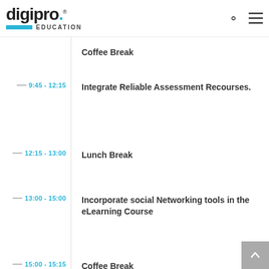digipro. EDUCATION
Coffee Break
9:45 - 12:15
Integrate Reliable Assessment Recourses.
12:15 - 13:00
Lunch Break
13:00 - 15:00
Incorporate social Networking tools in the eLearning Course
15:00 - 15:15
Coffee Break